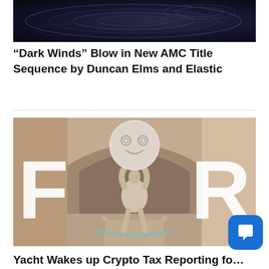[Figure (photo): Dark abstract image with water ripples or circular wave patterns on a dark blue-black background]
“Dark Winds” Blow in New AMC Title Sequence by Duncan Elms and Elastic
[Figure (photo): 3D render of a statue of Atlas holding a large spherical ball with a cartoon smiley face, in a beige/sepia-toned architectural setting with large white letters F O R overlaid]
Yacht Wakes up Crypto Tax Reporting for Cointem